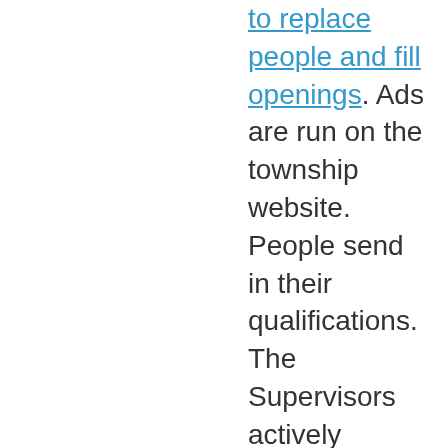to replace people and fill openings. Ads are run on the township website. People send in their qualifications. The Supervisors actively search and have been very successful. Cronies? Over half of the people appointed or reappointed to Township positions weren't even personally known by Mike Schneider to John Jacobs. Jacobs and Schneider appointed the new committee members because they were qualified. Several are ardent supporters of the opposition party but their political beliefs are irrelevant. The Supervisors felt the appointees had the qualifications...